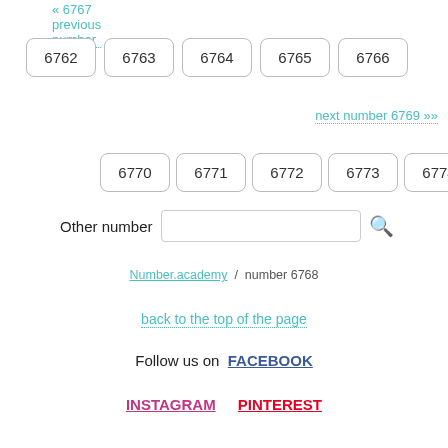<< 6767 previous number
6762 6763 6764 6765 6766
next number 6769 >>
6770 6771 6772 6773 6774
Other number [search input]
Number.academy / number 6768
back to the top of the page
Follow us on FACEBOOK
INSTAGRAM PINTEREST